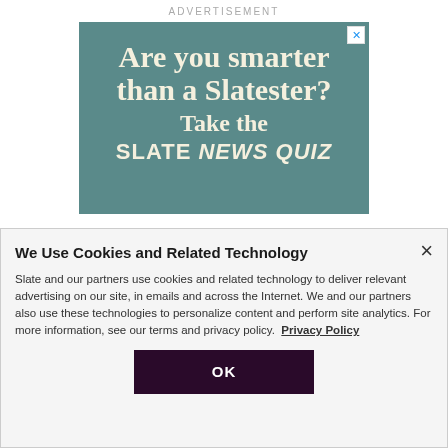ADVERTISEMENT
[Figure (screenshot): Advertisement banner for Slate News Quiz with teal/steel blue background. Large bold serif white text reads 'Are you smarter than a Slatester? Take the SLATE NEWS QUIZ'. Small X close button in top-right corner.]
We Use Cookies and Related Technology
Slate and our partners use cookies and related technology to deliver relevant advertising on our site, in emails and across the Internet. We and our partners also use these technologies to personalize content and perform site analytics. For more information, see our terms and privacy policy.  Privacy Policy
OK